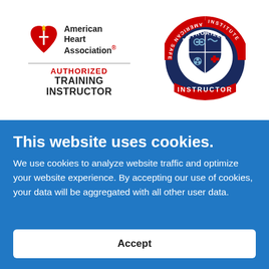[Figure (logo): American Heart Association logo with red heart and torch, text reading 'American Heart Association.' and below a divider line with 'AUTHORIZED TRAINING INSTRUCTOR']
[Figure (logo): American Safety & Health Institute circular badge/seal with 'AUTHORIZED INSTRUCTOR' text and shield with symbols inside]
This website uses cookies.
We use cookies to analyze website traffic and optimize your website experience. By accepting our use of cookies, your data will be aggregated with all other user data.
Accept